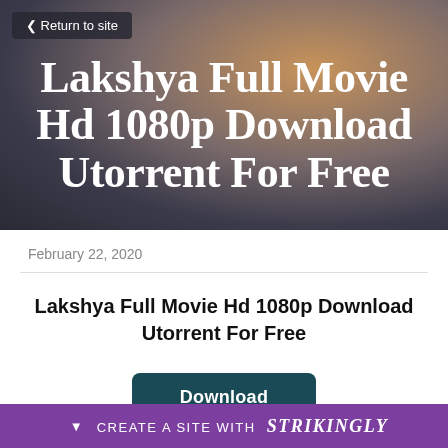[Figure (screenshot): Hero banner with blurred gradient background in dark blue-grey and warm orange tones]
< Return to site
Lakshya Full Movie Hd 1080p Download Utorrent For Free
February 22, 2020
Lakshya Full Movie Hd 1080p Download Utorrent For Free
Download
CREATE A SITE WITH strikingly